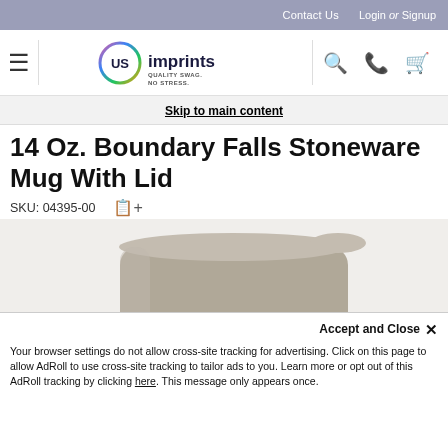Contact Us  Login Or Signup
[Figure (logo): USImprints logo with circular gradient ring and tagline QUALITY SWAG. NO STRESS.]
Skip to main content
14 Oz. Boundary Falls Stoneware Mug With Lid
SKU: 04395-00
[Figure (photo): 14 Oz. Boundary Falls Stoneware Mug with lid shown in taupe/grey color with a white deer and pine tree design on the front.]
Accept and Close ×
Your browser settings do not allow cross-site tracking for advertising. Click on this page to allow AdRoll to use cross-site tracking to tailor ads to you. Learn more or opt out of this AdRoll tracking by clicking here. This message only appears once.